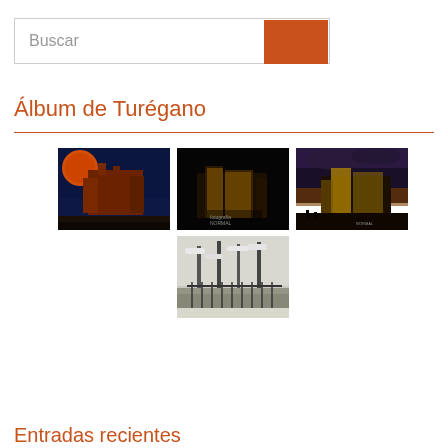[Figure (other): Search box with text 'Buscar' and orange search button]
Álbum de Turégano
[Figure (photo): Night photo of Turégano castle with large red moon in dark blue sky]
[Figure (photo): Dark night photo of illuminated Turégano castle/church]
[Figure (photo): Dusk photo of illuminated Turégano castle with cloudy sky]
[Figure (photo): Winter snow scene with trees and stone wall/fountain in Turégano]
Entradas recientes